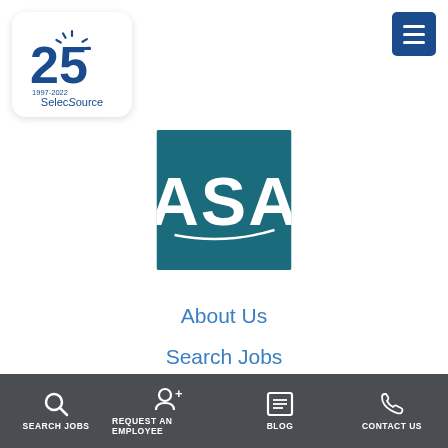[Figure (logo): SelecSource 25th anniversary logo (1997-2022) with sun rays and large '25' in blue, rounded white card]
[Figure (logo): ASA (American Staffing Association) logo — white text 'ASA' on dark teal/blue square background]
About Us
Search Jobs
Find Work
Find Talent
Resources
Contact
SEARCH JOBS   REQUEST AN EMPLOYEE   BLOG   CONTACT US